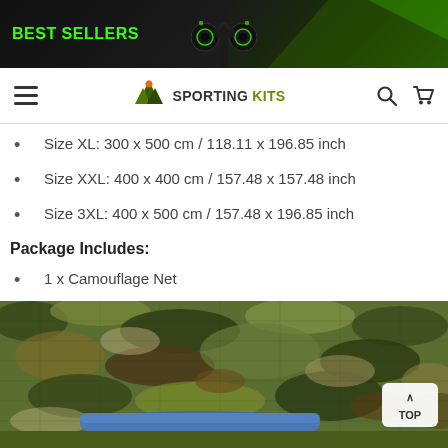[Figure (screenshot): E-commerce website banner with BEST SELLERS text in green on dark background, binoculars image, and green accent]
[Figure (logo): Sporting Kits navigation bar with hamburger menu, logo, search and cart icons]
Size XL: 300 x 500 cm / 118.11 x 196.85 inch
Size XXL: 400 x 400 cm / 157.48 x 157.48 inch
Size 3XL: 400 x 500 cm / 157.48 x 196.85 inch
Package Includes:
1 x Camouflage Net
[Figure (photo): Camouflage net product photo showing camouflage netting laid out with a blue packaged item underneath, with a TOP button overlay]
ADD TO CART